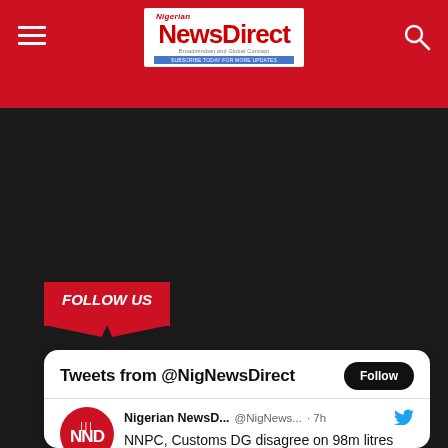Nigerian NewsDirect
FOLLOW US
Tweets from @NigNewsDirect
Nigerian NewsD... @NigNews... · 7h
NNPC, Customs DG disagree on 98m litres per day PMS consumption
nigeriannewsdirect.com/nnpc-customs-d...